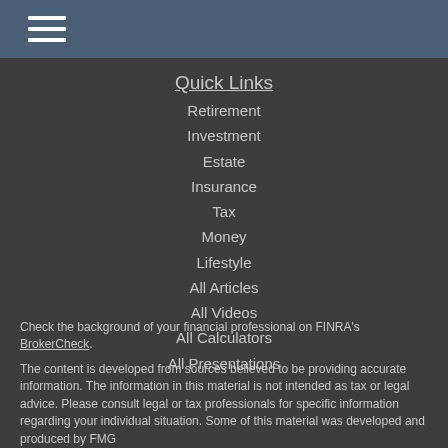[Figure (other): Hamburger menu icon — three horizontal white lines on a blue-grey header bar]
Quick Links
Retirement
Investment
Estate
Insurance
Tax
Money
Lifestyle
All Articles
All Videos
All Calculators
All Presentations
Check the background of your financial professional on FINRA's BrokerCheck.
The content is developed from sources believed to be providing accurate information. The information in this material is not intended as tax or legal advice. Please consult legal or tax professionals for specific information regarding your individual situation. Some of this material was developed and produced by FMG